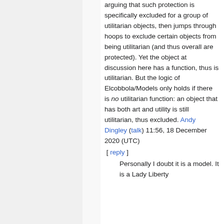arguing that such protection is specifically excluded for a group of utilitarian objects, then jumps through hoops to exclude certain objects from being utilitarian (and thus overall are protected). Yet the object at discussion here has a function, thus is utilitarian. But the logic of Elcobbola/Models only holds if there is no utilitarian function: an object that has both art and utility is still utilitarian, thus excluded. Andy Dingley (talk) 11:56, 18 December 2020 (UTC)
[ reply ]
Personally I doubt it is a model. It is a Lady Liberty